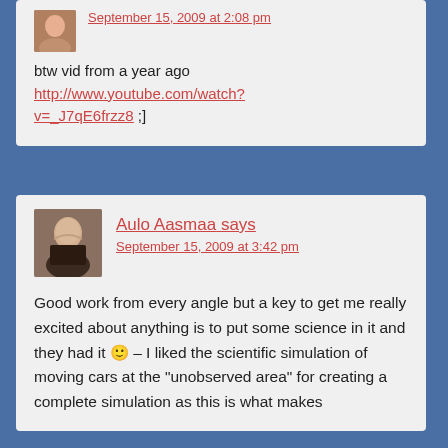September 15, 2009 at 2:08 pm
btw vid from a year ago
http://www.youtube.com/watch?v=_J7qE6frzz8 ;]
Aulo Aasmaa says
September 15, 2009 at 3:42 pm
Good work from every angle but a key to get me really excited about anything is to put some science in it and they had it 🙂 – I liked the scientific simulation of moving cars at the “unobserved area” for creating a complete simulation as this is what makes